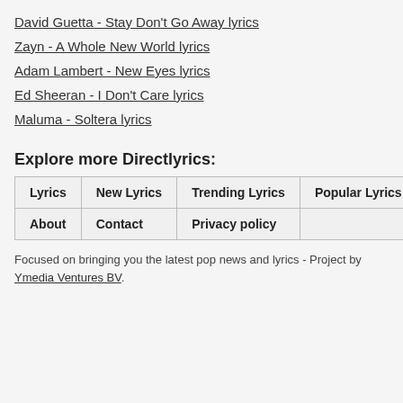David Guetta - Stay Don't Go Away lyrics
Zayn - A Whole New World lyrics
Adam Lambert - New Eyes lyrics
Ed Sheeran - I Don't Care lyrics
Maluma - Soltera lyrics
Explore more Directlyrics:
| Lyrics | New Lyrics | Trending Lyrics | Popular Lyrics |
| About | Contact | Privacy policy |
Focused on bringing you the latest pop news and lyrics - Project by Ymedia Ventures BV.